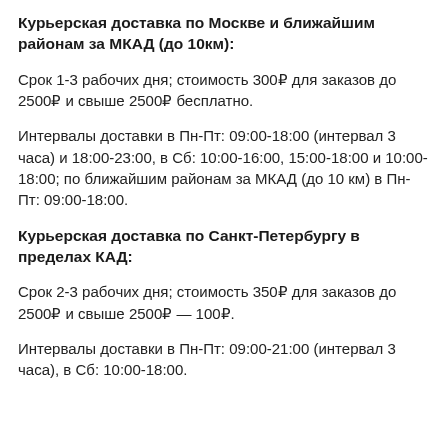Курьерская доставка по Москве и ближайшим районам за МКАД (до 10км):
Срок 1-3 рабочих дня; стоимость 300₽ для заказов до 2500₽ и свыше 2500₽ бесплатно.
Интервалы доставки в Пн-Пт: 09:00-18:00 (интервал 3 часа) и 18:00-23:00, в Сб: 10:00-16:00, 15:00-18:00 и 10:00-18:00; по ближайшим районам за МКАД (до 10 км) в Пн-Пт: 09:00-18:00.
Курьерская доставка по Санкт-Петербургу в пределах КАД:
Срок 2-3 рабочих дня; стоимость 350₽ для заказов до 2500₽ и свыше 2500₽ — 100₽.
Интервалы доставки в Пн-Пт: 09:00-21:00 (интервал 3 часа), в Сб: 10:00-18:00.